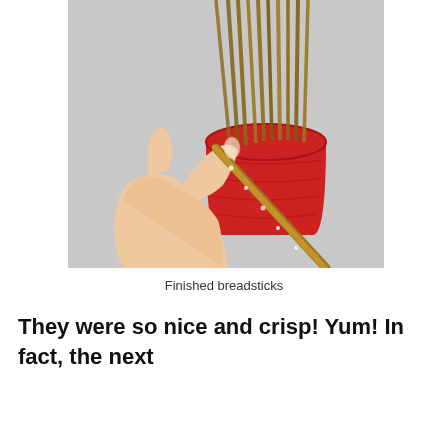[Figure (photo): A hand holding a long thin pretzel breadstick pulled from a red cylindrical cup/container filled with many breadsticks, photographed against a light grey background.]
Finished breadsticks
They were so nice and crisp! Yum! In fact, the next